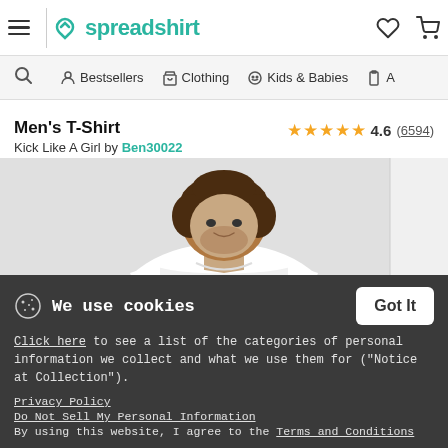spreadshirt — Bestsellers | Clothing | Kids & Babies
Men's T-Shirt
Kick Like A Girl by Ben30022
4.6 (6594) stars rating
[Figure (photo): Man wearing a white t-shirt with 'Kick Like A Girl' graphic, photo cropped to show head, neck and upper torso]
We use cookies — Click here to see a list of the categories of personal information we collect and what we use them for ("Notice at Collection"). Privacy Policy. Do Not Sell My Personal Information. By using this website, I agree to the Terms and Conditions